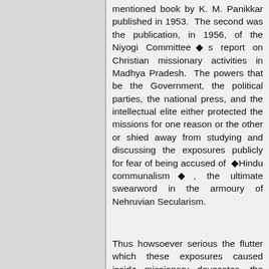mentioned book by K. M. Panikkar published in 1953. The second was the publication, in 1956, of the Niyogi Committee◆s report on Christian missionary activities in Madhya Pradesh. The powers that be the Government, the political parties, the national press, and the intellectual elite either protected the missions for one reason or the other or shied away from studying and discussing the exposures publicly for fear of being accused of ◆Hindu communalism◆, the ultimate swearword in the armoury of Nehruvian Secularism.
Thus howsoever serious the flutter which these exposures caused inside missionary dovecotes, the atmosphere outside continued to be favourable for them. Of course, ◆narrow-minded and